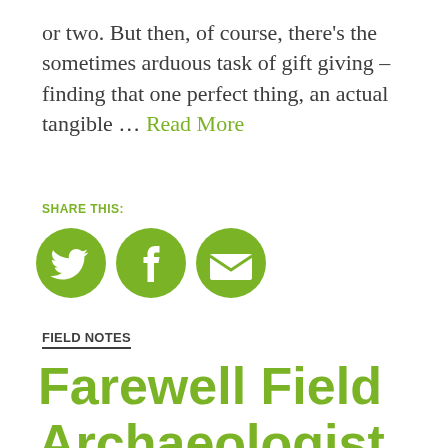or two. But then, of course, there's the sometimes arduous task of gift giving – finding that one perfect thing, an actual tangible … Read More
SHARE THIS:
[Figure (infographic): Three green circular social media share icons: Twitter bird, Facebook f, and email/envelope icon]
FIELD NOTES
Farewell Field Archaeologist Mackenzie